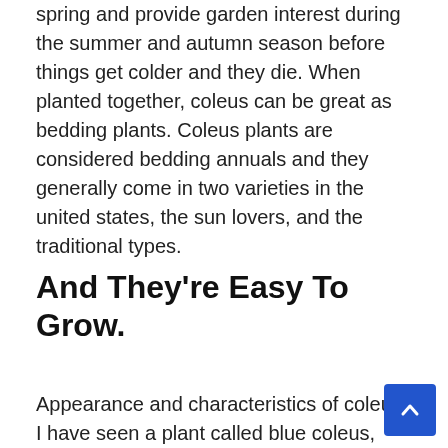spring and provide garden interest during the summer and autumn season before things get colder and they die. When planted together, coleus can be great as bedding plants. Coleus plants are considered bedding annuals and they generally come in two varieties in the united states, the sun lovers, and the traditional types.
And They're Easy To Grow.
Appearance and characteristics of coleus. I have seen a plant called blue coleus, and also seen seeds advertised on web sites but reviews show them to be false. It is an erect or